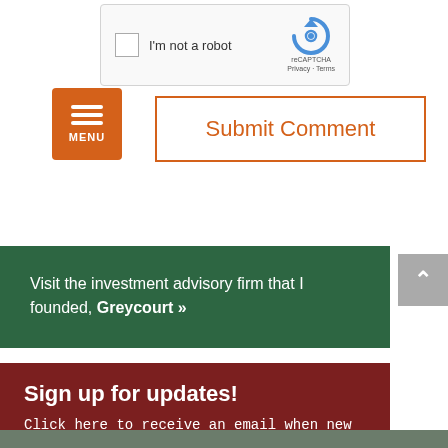[Figure (screenshot): reCAPTCHA widget with checkbox labeled 'I'm not a robot' and reCAPTCHA logo with Privacy and Terms links]
[Figure (other): Orange menu button with three horizontal lines and MENU label]
Submit Comment
Visit the investment advisory firm that I founded, Greycourt »
Sign up for updates!
Click here to receive an email when new content is published...